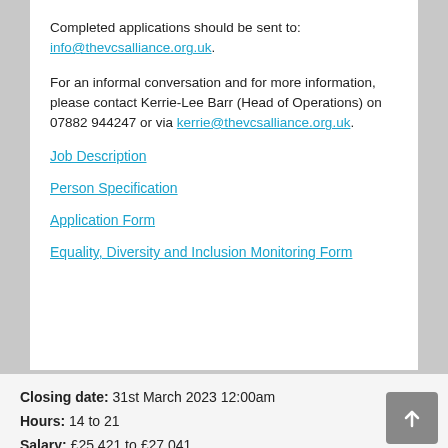Completed applications should be sent to: info@thevcsalliance.org.uk.
For an informal conversation and for more information, please contact Kerrie-Lee Barr (Head of Operations) on 07882 944247 or via kerrie@thevcsalliance.org.uk.
Job Description
Person Specification
Application Form
Equality, Diversity and Inclusion Monitoring Form
Closing date: 31st March 2023 12:00am
Hours: 14 to 21
Salary: £25,421 to £27,041 ...